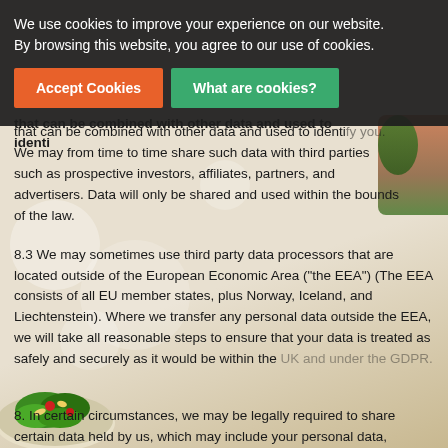We use cookies to improve your experience on our website. By browsing this website, you agree to our use of cookies.
Accept Cookies
What are cookies?
that can be combined with other data and used to identify you. We may from time to time share such data with third parties such as prospective investors, affiliates, partners, and advertisers. Data will only be shared and used within the bounds of the law.
8.3 We may sometimes use third party data processors that are located outside of the European Economic Area ("the EEA") (The EEA consists of all EU member states, plus Norway, Iceland, and Liechtenstein). Where we transfer any personal data outside the EEA, we will take all reasonable steps to ensure that your data is treated as safely and securely as it would be within the UK and under the GDPR.
8. In certain circumstances, we may be legally required to share certain data held by us, which may include your personal data,